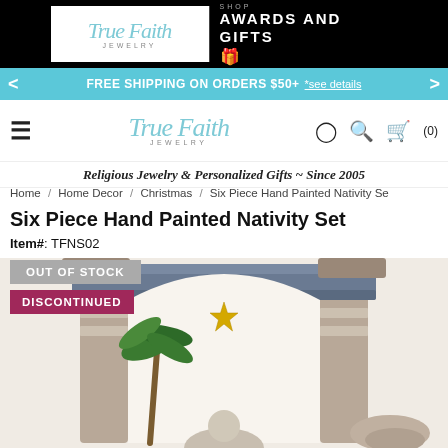[Figure (screenshot): True Faith Jewelry logo and Shop Awards and Gifts banner at top]
FREE SHIPPING ON ORDERS $50+ *see details
[Figure (logo): True Faith Jewelry navigation logo with hamburger menu, user, search, and cart icons]
Religious Jewelry & Personalized Gifts ~ Since 2005
Home / Home Decor / Christmas / Six Piece Hand Painted Nativity Se
Six Piece Hand Painted Nativity Set
Item#: TFNS02
OUT OF STOCK
DISCONTINUED
[Figure (photo): Six Piece Hand Painted Nativity Set product photo showing architectural arch with palm tree and gold star]